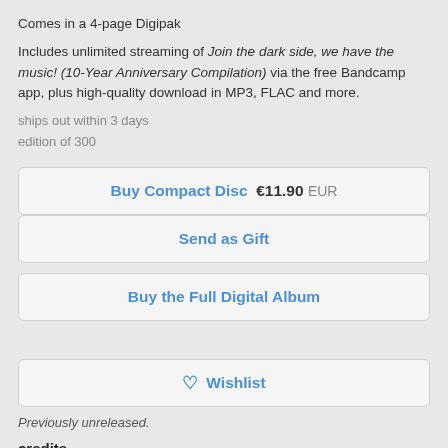Comes in a 4-page Digipak
Includes unlimited streaming of Join the dark side, we have the music! (10-Year Anniversary Compilation) via the free Bandcamp app, plus high-quality download in MP3, FLAC and more.
ships out within 3 days
edition of 300
Buy Compact Disc  €11.90 EUR
Send as Gift
Buy the Full Digital Album
♡ Wishlist
Previously unreleased.
credits
from Join the dark side, we have the music! (10-Year Anniversary